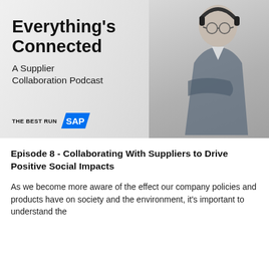[Figure (illustration): Podcast cover image showing a smiling middle-aged man in a suit wearing headphones, with text overlay: 'Everything's Connected – A Supplier Collaboration Podcast' and the SAP 'THE BEST RUN' logo in the bottom left.]
Episode 8 - Collaborating With Suppliers to Drive Positive Social Impacts
As we become more aware of the effect our company policies and products have on society and the environment, it's important to understand the